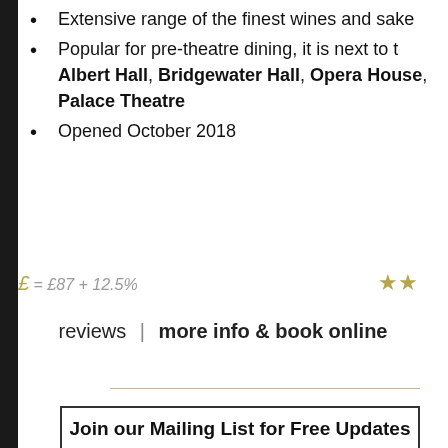Extensive range of the finest wines and sake
Popular for pre-theatre dining, it is next to the Albert Hall, Bridgewater Hall, Opera House, Palace Theatre
Opened October 2018
£ = £87 + 12.5%
reviews | more info & book online
Join our Mailing List for Free Updates